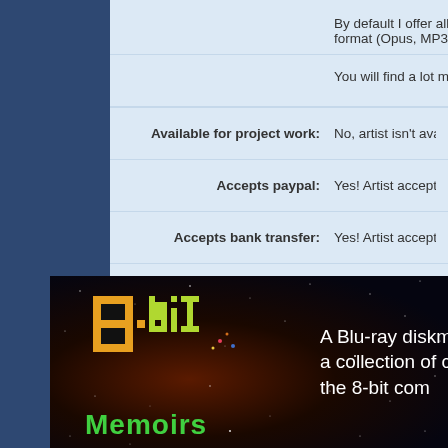By default I offer all my tracks in format (Opus, MP3, AAC, FLA...
You will find a lot more tunes o...
Available for project work: No, artist isn't available for proj...
Accepts paypal: Yes! Artist accepts payments by...
Accepts bank transfer: Yes! Artist accepts payments by...
Payment notes:
[Figure (illustration): 8-bit Memoirs advertisement banner with pixel art logo on dark space background. Logo shows '8-bit Memoirs' in pixel/retro style with orange/gold blocks and green text. Right side text reads 'A Blu-ray diskma... a collection of ch... the 8-bit com...']